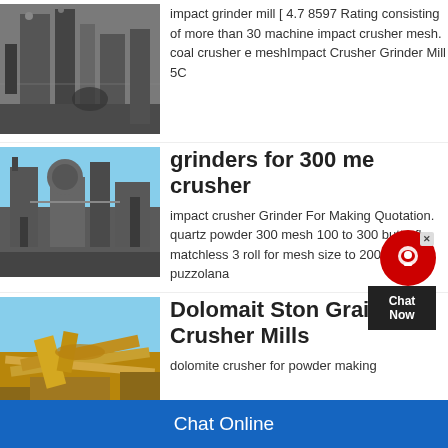[Figure (photo): Industrial grinding/crushing machinery, dark gray metallic structures]
impact grinder mill [ 4.7 8597 Rating consisting of more than 30 machine impact crusher mesh. coal crusher e meshImpact Crusher Grinder Mill 5C
[Figure (photo): Industrial crushing plant with silos and blue sky background]
grinders for 300 me crusher
impact crusher Grinder For Making Quotation. quartz powder 300 mesh 100 to 300 butterfly matchless 3 roll for mesh size to 200 tph puzzolana
[Figure (photo): Yellow mining/quarry equipment under blue sky]
Dolomait Ston Grainding Crusher Mills
dolomite crusher for powder making
Chat Online